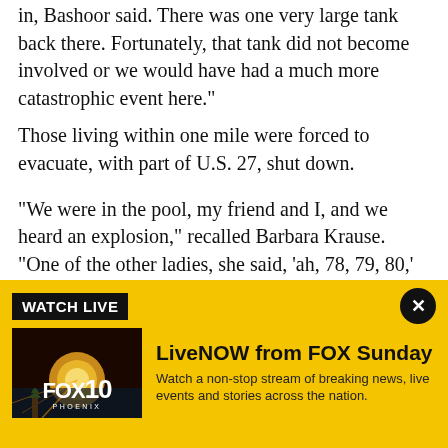in, Bashoor said. There was one very large tank back there. Fortunately, that tank did not become involved or we would have had a much more catastrophic event here."
Those living within one mile were forced to evacuate, with part of U.S. 27, shut down.
"We were in the pool, my friend and I, and we heard an explosion," recalled Barbara Krause. "One of the other ladies, she said, 'ah, 78, 79, 80,' she was counting them. Then, we saw the black smoke."
"A policeman came by and said get out, go, leave right
[Figure (screenshot): FOX 10 Phoenix LiveNOW advertisement banner with yellow background, WATCH LIVE label, close button, FOX 10 Phoenix thumbnail image, LiveNOW from FOX Sunday title, and description text.]